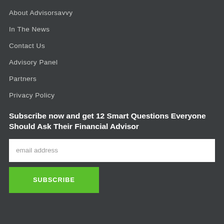About Advisorsavvy
In The News
Contact Us
Advisory Panel
Partners
Privacy Policy
Subscribe now and get 12 Smart Questions Everyone Should Ask Their Financial Advisor
email address
SUBSCRIBE